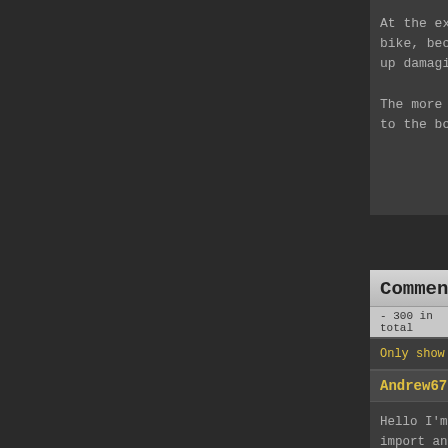At the export ship, there is a ramp up the side. Take a bike, because it's quicker, but dont take a ca... up damaging it and losing money.

The more cars you export, the more cars are av... to the board to check which cars you can impo...
Comments
- 300 in total   1,2,3,4,5,0,7,8,9,10,11,12,13,14,15,...
Only show golden comments
Andrew6797
Hello I'm new here and I was wondering... import and export Crane even though I a... Thank you
ultima
I have completed the driving school! No... drive ' test of the wang cars.
ultima
I am stuck on the 'wheelie weave' test... Any suggestions?